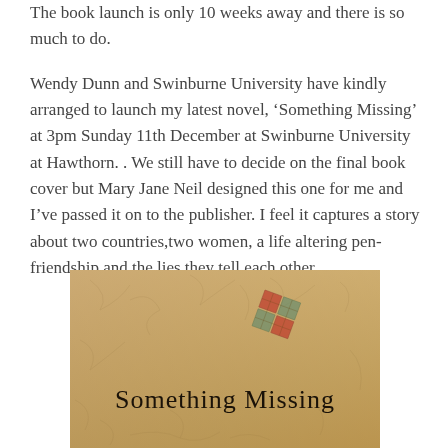The book launch is only 10 weeks away and there is so much to do.
Wendy Dunn and Swinburne University have kindly arranged to launch my latest novel, ‘Something Missing’ at 3pm Sunday 11th December at Swinburne University at Hawthorn. . We still have to decide on the final book cover but Mary Jane Neil designed this one for me and I’ve passed it on to the publisher. I feel it captures a story about two countries,two women, a life altering pen-friendship and the lies they tell each other.
[Figure (illustration): Book cover image with aged parchment background and decorative elements, with the title 'Something Missing' in dark handwritten-style font]